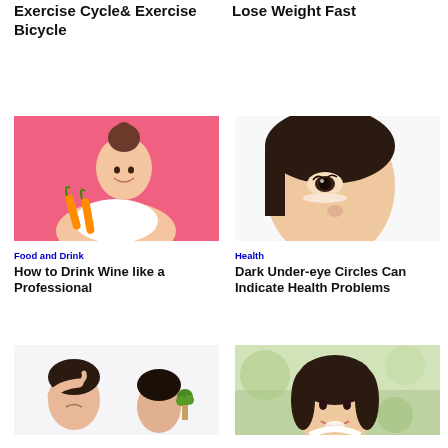Exercise Cycle& Exercise Bicycle
Lose Weight Fast
[Figure (photo): Young Asian woman smiling holding carrots against pink background]
Food and Drink
How to Drink Wine like a Professional
[Figure (photo): Young Asian woman touching her face under-eye area against white background]
Health
Dark Under-eye Circles Can Indicate Health Problems
[Figure (photo): Man with headache holding head, another person in background, plant on table]
[Figure (photo): Young Asian woman smiling against green blurred background]